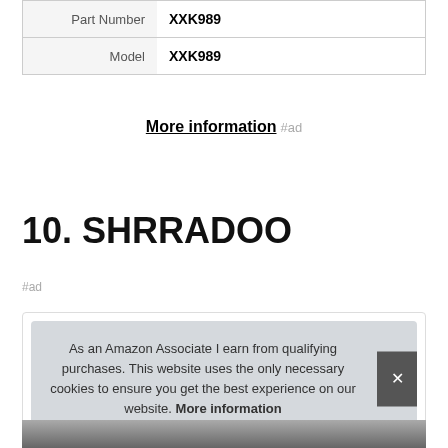| Part Number | XXK989 |
| Model | XXK989 |
More information #ad
10. SHRRADOO
#ad
As an Amazon Associate I earn from qualifying purchases. This website uses the only necessary cookies to ensure you get the best experience on our website. More information